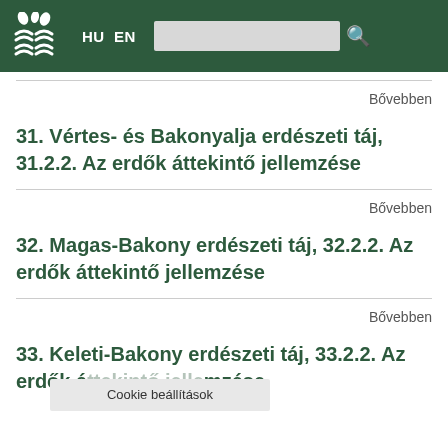[Figure (logo): Green website header with stylized plant/leaf logo, HU EN language links, search box and search icon on dark green background]
Bővebben
31. Vértes- és Bakonyalja erdészeti táj, 31.2.2. Az erdők áttekintő jellemzése
Bővebben
32. Magas-Bakony erdészeti táj, 32.2.2. Az erdők áttekintő jellemzése
Bővebben
33. Keleti-Bakony erdészeti táj, 33.2.2. Az erdők áttekintő jellemzése